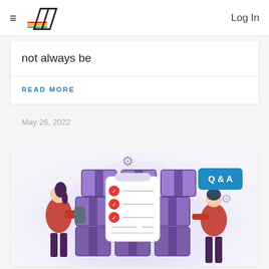≡ [Logo] Log In
not always be
READ MORE
May 26, 2022
[Figure (illustration): Illustration of two people managing inventory boxes with a checklist clipboard in the center and a Q&A label badge in the upper right]